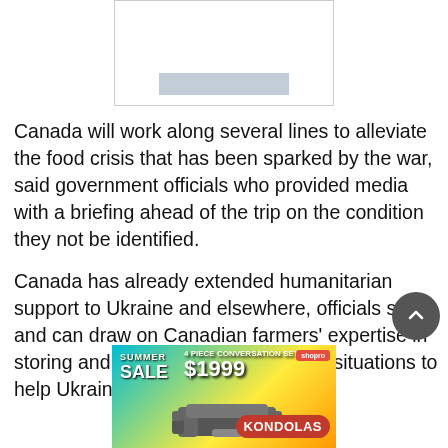[Figure (other): Advertisement placeholder box with a gray bar]
Canada will work along several lines to alleviate the food crisis that has been sparked by the war, said government officials who provided media with a briefing ahead of the trip on the condition they not be identified.
Canada has already extended humanitarian support to Ukraine and elsewhere, officials said, and can draw on Canadian farmers' expertise in storing and shipping crops in difficult situations to help Ukrainian grain reach those who
[Figure (other): KONDOLAS furniture advertisement banner — Summer SALE, 4 piece conversation set $1999]